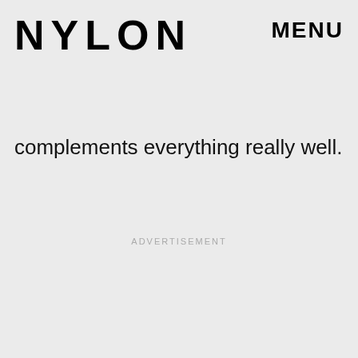NYLON   MENU
but it's not a go-to purple — it's just a beautiful, bright purple that complements everything really well.
ADVERTISEMENT